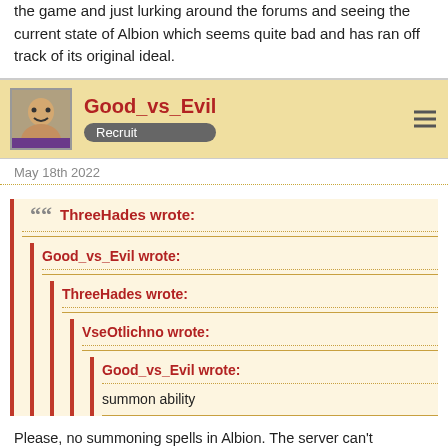the game and just lurking around the forums and seeing the current state of Albion which seems quite bad and has ran off track of its original ideal.
Good_vs_Evil
Recruit
May 18th 2022
ThreeHades wrote:
Good_vs_Evil wrote:
ThreeHades wrote:
VseOtlichno wrote:
Good_vs_Evil wrote:
summon ability
Please, no summoning spells in Albion. The server can't